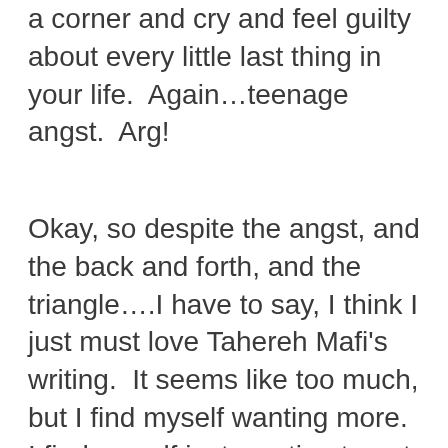a corner and cry and feel guilty about every little last thing in your life.  Again…teenage angst.  Arg!
Okay, so despite the angst, and the back and forth, and the triangle….I have to say, I think I just must love Tahereh Mafi's writing.  It seems like too much, but I find myself wanting more.  I find myself just wanting to eat it up or finding a spot to hide and just live there.  That doesn't happen very often